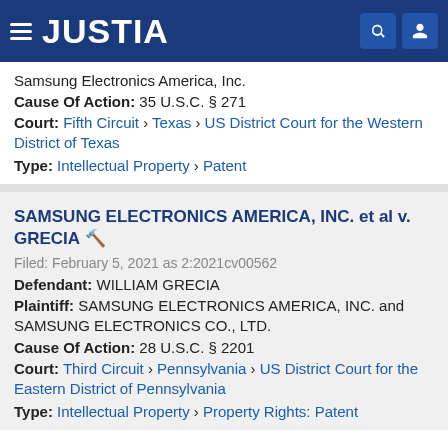JUSTIA
Samsung Electronics America, Inc.
Cause Of Action: 35 U.S.C. § 271
Court: Fifth Circuit › Texas › US District Court for the Western District of Texas
Type: Intellectual Property › Patent
SAMSUNG ELECTRONICS AMERICA, INC. et al v. GRECIA 🔨
Filed: February 5, 2021 as 2:2021cv00562
Defendant: WILLIAM GRECIA
Plaintiff: SAMSUNG ELECTRONICS AMERICA, INC. and SAMSUNG ELECTRONICS CO., LTD.
Cause Of Action: 28 U.S.C. § 2201
Court: Third Circuit › Pennsylvania › US District Court for the Eastern District of Pennsylvania
Type: Intellectual Property › Property Rights: Patent